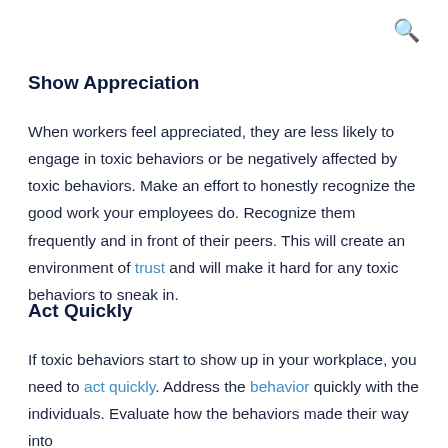🔍
Show Appreciation
When workers feel appreciated, they are less likely to engage in toxic behaviors or be negatively affected by toxic behaviors. Make an effort to honestly recognize the good work your employees do. Recognize them frequently and in front of their peers. This will create an environment of trust and will make it hard for any toxic behaviors to sneak in.
Act Quickly
If toxic behaviors start to show up in your workplace, you need to act quickly. Address the behavior quickly with the individuals. Evaluate how the behaviors made their way into